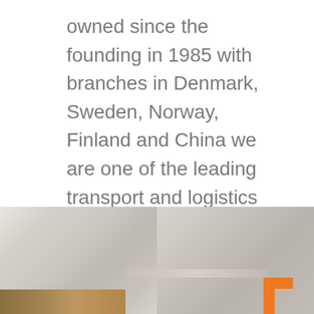owned since the founding in 1985 with branches in Denmark, Sweden, Norway, Finland and China we are one of the leading transport and logistics companies.
[Figure (photo): Blurred warehouse photo showing pallets wrapped in plastic stretch film, with wooden pallet visible at bottom left. An orange corporate logo mark (bracket/chevron shape) appears in the bottom right corner of the image.]